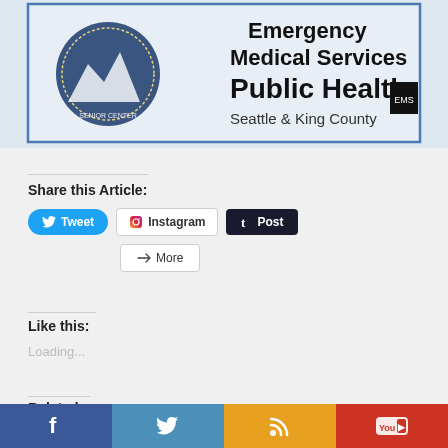[Figure (logo): Banner image showing King County Emergency Medical Services Public Health Seattle & King County logo with mountain background]
Share this Article:
[Figure (screenshot): Social sharing buttons: Tweet (Twitter blue), Instagram, Post (Tumblr dark), and More]
Like this:
Loading...
Related
[Figure (photo): Two thumbnail images showing I Voted sticker photos]
Social media footer bar with Facebook, Twitter, RSS, and YouTube icons